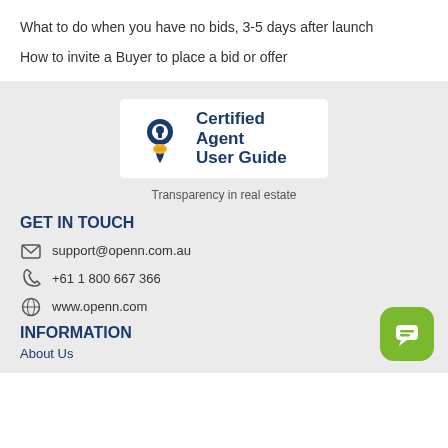What to do when you have no bids, 3-5 days after launch
How to invite a Buyer to place a bid or offer
[Figure (logo): Certified Agent User Guide logo with location pin icon and handshake icon in navy and gold]
Transparency in real estate
GET IN TOUCH
support@openn.com.au
+61 1 800 667 366
www.openn.com
INFORMATION
About Us